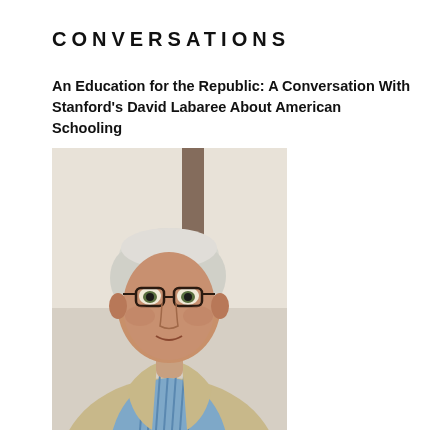CONVERSATIONS
An Education for the Republic: A Conversation With Stanford's David Labaree About American Schooling
[Figure (photo): Portrait photograph of David Labaree, a middle-aged man with white/silver hair, wearing glasses, a beige/tan blazer, and a blue striped shirt, photographed in front of a light background.]